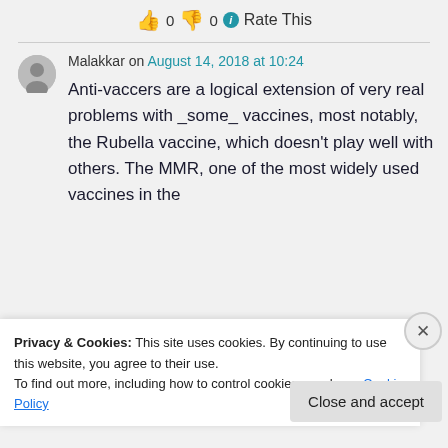👍 0 👎 0 ℹ Rate This
Malakkar on August 14, 2018 at 10:24
Anti-vaccers are a logical extension of very real problems with _some_ vaccines, most notably, the Rubella vaccine, which doesn't play well with others. The MMR, one of the most widely used vaccines in the
Privacy & Cookies: This site uses cookies. By continuing to use this website, you agree to their use.
To find out more, including how to control cookies, see here: Cookie Policy
Close and accept